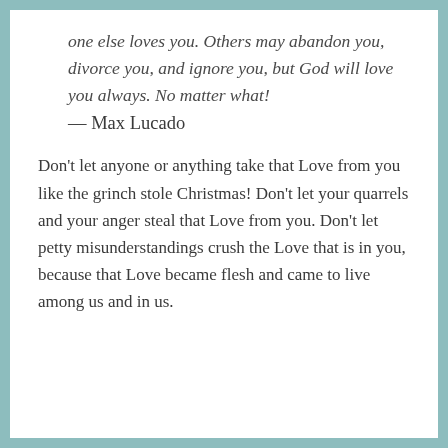one else loves you. Others may abandon you, divorce you, and ignore you, but God will love you always. No matter what!
— Max Lucado
Don't let anyone or anything take that Love from you like the grinch stole Christmas! Don't let your quarrels and your anger steal that Love from you. Don't let petty misunderstandings crush the Love that is in you, because that Love became flesh and came to live among us and in us.